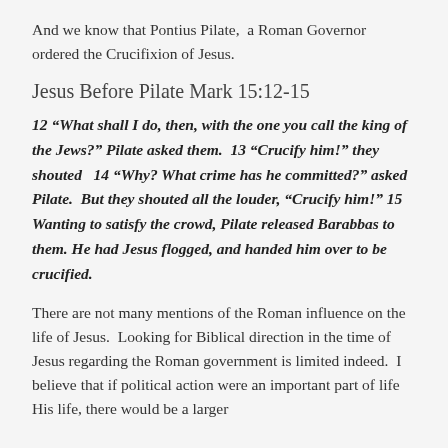And we know that Pontius Pilate,  a Roman Governor ordered the Crucifixion of Jesus.
Jesus Before Pilate Mark 15:12-15
12 “What shall I do, then, with the one you call the king of the Jews?” Pilate asked them.  13 “Crucify him!” they shouted   14 “Why? What crime has he committed?” asked Pilate.  But they shouted all the louder, “Crucify him!” 15 Wanting to satisfy the crowd, Pilate released Barabbas to them. He had Jesus flogged, and handed him over to be crucified.
There are not many mentions of the Roman influence on the life of Jesus.  Looking for Biblical direction in the time of Jesus regarding the Roman government is limited indeed.  I believe that if political action were an important part of life His life, there would be a larger